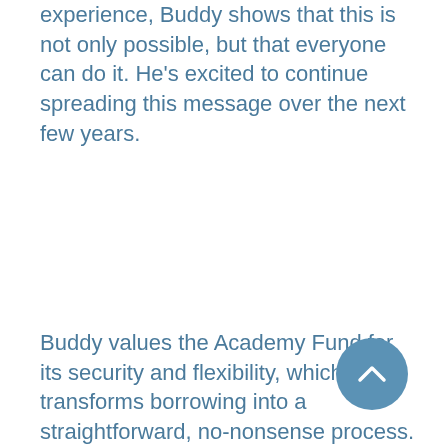experience, Buddy shows that this is not only possible, but that everyone can do it. He's excited to continue spreading this message over the next few years.
Buddy values the Academy Fund for its security and flexibility, which transforms borrowing into a straightforward, no-nonsense process. Buddy is really excited about a recent Academy Fund-ed deal that enabled him to purchase twenty-two properties in Florida, which are cash-flowing single-family rentals.  He's incredibly thankful for all the Academy Fund investors who m... one of his most exciting deals yet possible and he absolutely love...